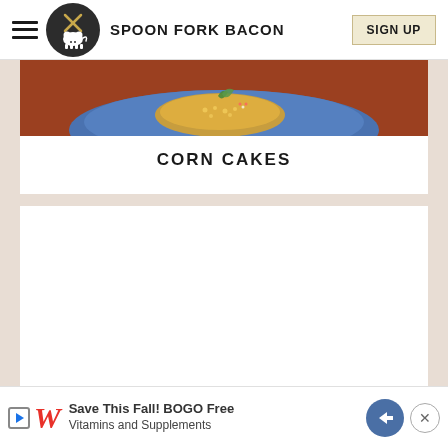SPOON FORK BACON
[Figure (photo): Food photo showing corn cakes on a blue plate against a reddish-brown background]
CORN CAKES
[Figure (other): White content area (ad placeholder or recipe content area)]
Save This Fall! BOGO Free Vitamins and Supplements